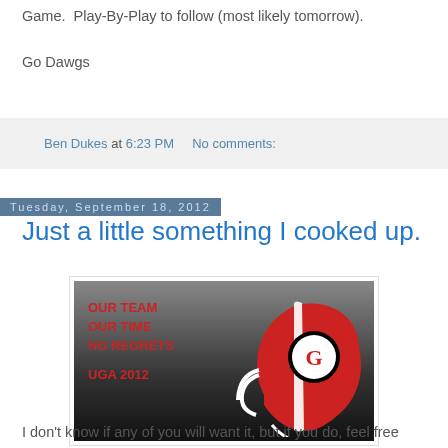Game.  Play-By-Play to follow (most likely tomorrow).
Go Dawgs
Ben Dukes at 6:23 PM    No comments:
Tuesday, September 18, 2012
Just a little something I cooked up.
[Figure (photo): UGA 2012 football helmet graphic with text: OUR TEAM / OUR TIME / NO REGRETS / UGA 2012 on a dark background with a red Georgia Bulldogs helmet on the right.]
I don't know if any of you will want it, but if you do, feel free